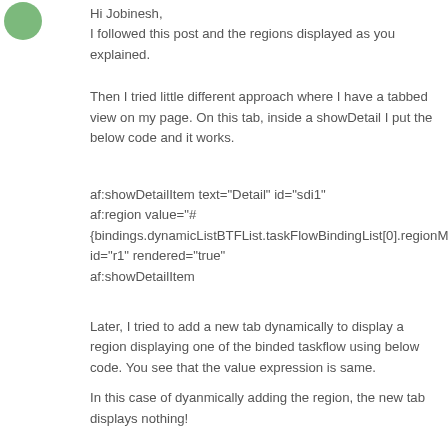[Figure (photo): User avatar: circular green profile picture in top-left corner]
Hi Jobinesh,
I followed this post and the regions displayed as you explained.
Then I tried little different approach where I have a tabbed view on my page. On this tab, inside a showDetail I put the below code and it works.
af:showDetailItem text="Detail" id="sdi1"
af:region value="#{bindings.dynamicListBTFList.taskFlowBindingList[0].regionModel}"
id="r1" rendered="true"
af:showDetailItem
Later, I tried to add a new tab dynamically to display a region displaying one of the binded taskflow using below code. You see that the value expression is same.
In this case of dyanmically adding the region, the new tab displays nothing!